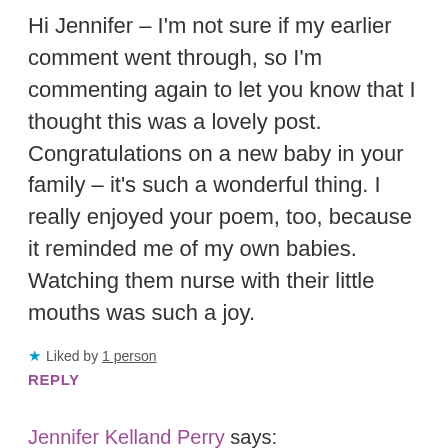Hi Jennifer – I'm not sure if my earlier comment went through, so I'm commenting again to let you know that I thought this was a lovely post. Congratulations on a new baby in your family – it's such a wonderful thing. I really enjoyed your poem, too, because it reminded me of my own babies. Watching them nurse with their little mouths was such a joy.
★ Liked by 1 person
REPLY
Jennifer Kelland Perry says:
June 2, 2020 at 1:58 pm